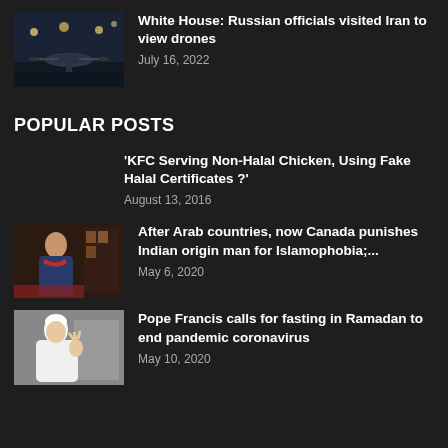[Figure (photo): Military drone on airstrip at night with lights in background]
White House: Russian officials visited Iran to view drones
July 16, 2022
POPULAR POSTS
'KFC Serving Non-Halal Chicken, Using Fake Halal Certificates ?'
August 13, 2016
[Figure (photo): South Asian man standing in a colorful shop or market]
After Arab countries, now Canada punishes Indian origin man for Islamophobia;...
May 6, 2020
[Figure (photo): Pope Francis waving, wearing white vestments]
Pope Francis calls for fasting in Ramadan to end pandemic coronavirus
May 10, 2020